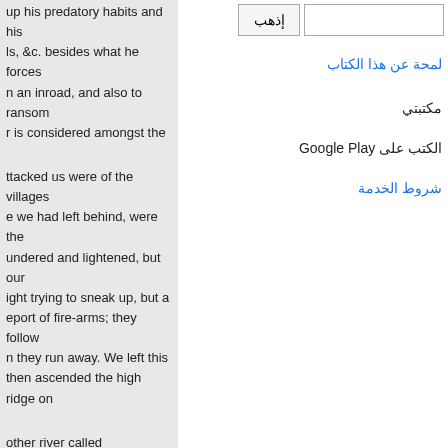up his predatory habits and his ls, &c. besides what he forces n an inroad, and also to ransom r is considered amongst the
ttacked us were of the villages e we had left behind, were the undered and lightened, but our ight trying to sneak up, but a eport of fire-arms; they follow n they run away. We left this then ascended the high ridge on
other river called e Nagas were observed y fled in all directions. inding ridge, where they clouds lowered and e been deluged before we ooking foe in the shape ress into their village. ed of our only wishing the road across the
إذهب
لمحة عن هذا الكتاب
مكتبتي
الكتب على Google Play
شروط الخدمة